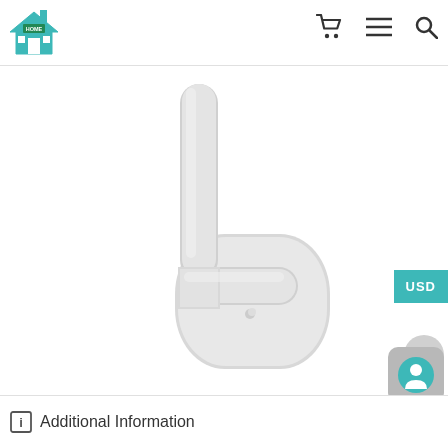Home store navigation bar with logo, cart, menu, and search icons
[Figure (photo): White wall hook with adhesive backing — L-shaped hook mounted on a rounded rectangular white base plate, photographed on white background]
USD
+
[Figure (other): Chat/support circular button with speech bubble icon]
Additional Information